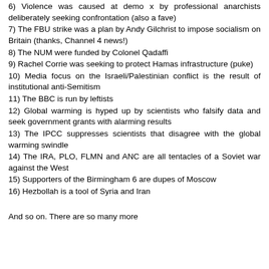6) Violence was caused at demo x by professional anarchists deliberately seeking confrontation (also a fave)
7) The FBU strike was a plan by Andy Gilchrist to impose socialism on Britain (thanks, Channel 4 news!)
8) The NUM were funded by Colonel Qadaffi
9) Rachel Corrie was seeking to protect Hamas infrastructure (puke)
10) Media focus on the Israeli/Palestinian conflict is the result of institutional anti-Semitism
11) The BBC is run by leftists
12) Global warming is hyped up by scientists who falsify data and seek government grants with alarming results
13) The IPCC suppresses scientists that disagree with the global warming swindle
14) The IRA, PLO, FLMN and ANC are all tentacles of a Soviet war against the West
15) Supporters of the Birmingham 6 are dupes of Moscow
16) Hezbollah is a tool of Syria and Iran
And so on. There are so many more